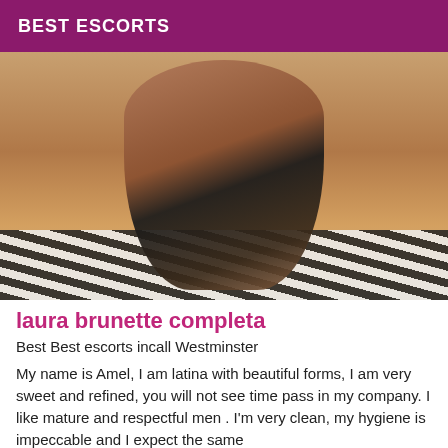BEST ESCORTS
[Figure (photo): Woman in black lingerie and fishnet stockings sitting on a zebra-print rug in a room with wooden floors and a decorative cabinet]
laura brunette completa
Best Best escorts incall Westminster
My name is Amel, I am latina with beautiful forms, I am very sweet and refined, you will not see time pass in my company. I like mature and respectful men . I'm very clean, my hygiene is impeccable and I expect the same